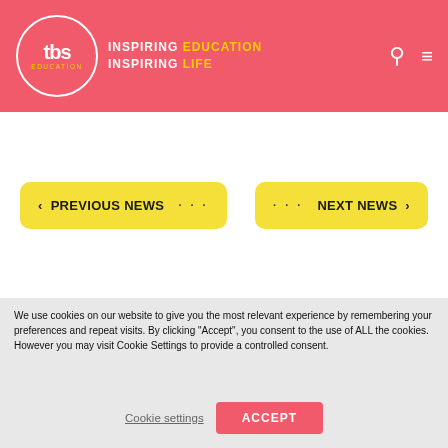tbs EDUCATION — INSPIRING EDUCATION INSPIRING LIFE
‹ PREVIOUS NEWS · · · · · · NEXT NEWS ›
[Figure (logo): TBS Education logo on dark background with tagline INSPIRING EDUCATION INSPIRING LIFE]
We use cookies on our website to give you the most relevant experience by remembering your preferences and repeat visits. By clicking "Accept", you consent to the use of ALL the cookies. However you may visit Cookie Settings to provide a controlled consent.
Cookie settings    ACCEPT